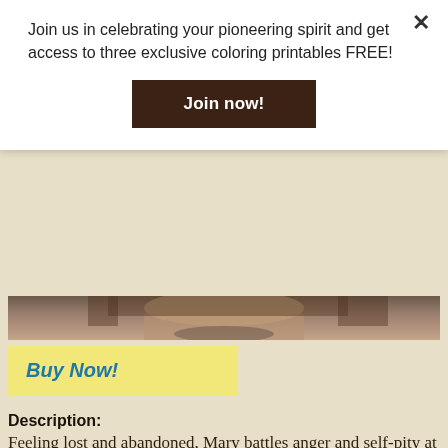Join us in celebrating your pioneering spirit and get access to three exclusive coloring printables FREE!
Join now!
[Figure (photo): Bottom portion of a person's face and upper body, cropped photo strip]
Buy Now!
Description:
Feeling lost and abandoned, Mary battles anger and self-pity at a school for the blind. But soon, she finds a source of hope in her new teacher, Adam Kendall, and as they work together they find they have much in common. Meanwhile, back in Walnut Grove, many are forced to consider the real possibility of having to start a new life elsewhere as the town’s economy erodes and work becomes scarce.